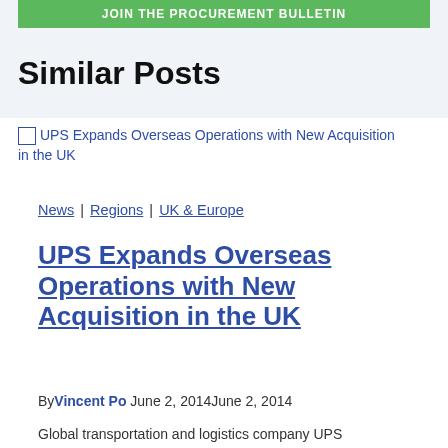JOIN THE PROCUREMENT BULLETIN
Similar Posts
[Figure (photo): Thumbnail image link for article: UPS Expands Overseas Operations with New Acquisition in the UK]
News | Regions | UK & Europe
UPS Expands Overseas Operations with New Acquisition in the UK
By Vincent Po June 2, 2014June 2, 2014
Global transportation and logistics company UPS